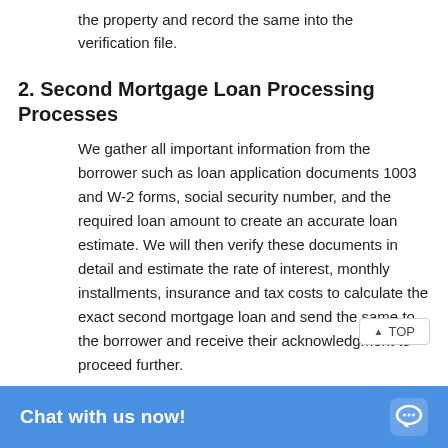the property and record the same into the verification file.
2. Second Mortgage Loan Processing Processes
We gather all important information from the borrower such as loan application documents 1003 and W-2 forms, social security number, and the required loan amount to create an accurate loan estimate. We will then verify these documents in detail and estimate the rate of interest, monthly installments, insurance and tax costs to calculate the exact second mortgage loan and send the same to the borrower and receive their acknowledgment to proceed further.
3. Appraisal of Property
O2I has been an outstanding second mortgage loan support service the globe, Therefore